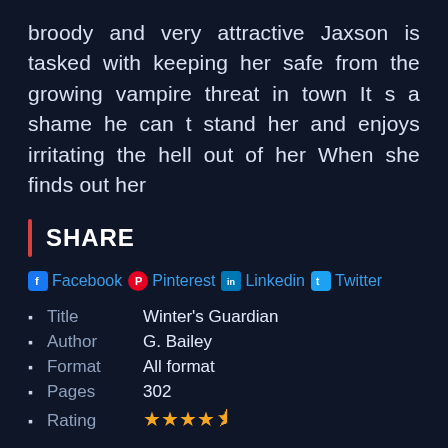broody and very attractive Jaxson is tasked with keeping her safe from the growing vampire threat in town It s a shame he can t stand her and enjoys irritating the hell out of her When she finds out her
SHARE
Facebook Pinterest Linkedin Twitter
Title  Winter's Guardian
Author  G. Bailey
Format  All format
Pages  302
Rating ★★★★½